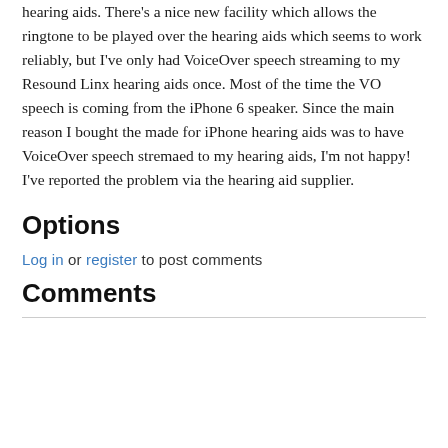hearing aids. There's a nice new facility which allows the ringtone to be played over the hearing aids which seems to work reliably, but I've only had VoiceOver speech streaming to my Resound Linx hearing aids once. Most of the time the VO speech is coming from the iPhone 6 speaker. Since the main reason I bought the made for iPhone hearing aids was to have VoiceOver speech stremaed to my hearing aids, I'm not happy! I've reported the problem via the hearing aid supplier.
Options
Log in or register to post comments
Comments